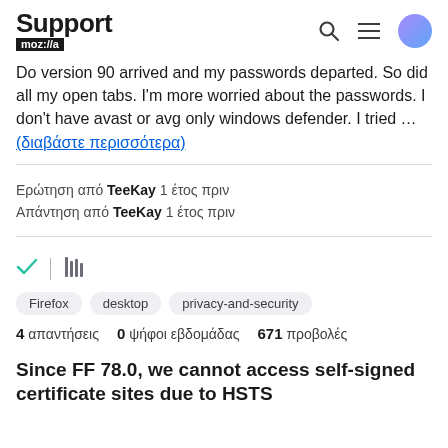Support mozilla//a
Do version 90 arrived and my passwords departed. So did all my open tabs. I'm more worried about the passwords. I don't have avast or avg only windows defender. I tried … (διαβάστε περισσότερα)
Ερώτηση από TeeKay 1 έτος πριν
Απάντηση από TeeKay 1 έτος πριν
Firefox
desktop
privacy-and-security
4 απαντήσεις   0  ψήφοι εβδομάδας   671  προβολές
Since FF 78.0, we cannot access self-signed certificate sites due to HSTS